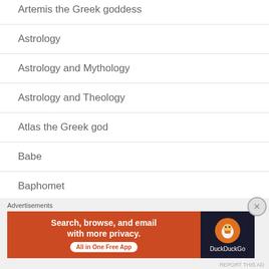Artemis the Greek goddess
Astrology
Astrology and Mythology
Astrology and Theology
Atlas the Greek god
Babe
Baphomet
Advertisements
[Figure (screenshot): DuckDuckGo advertisement banner: Search, browse, and email with more privacy. All in One Free App.]